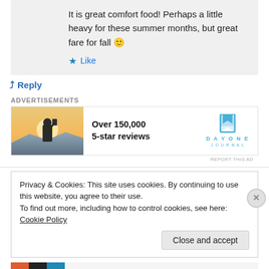It is great comfort food! Perhaps a little heavy for these summer months, but great fare for fall 🙂
★ Like
↳ Reply
ADVERTISEMENTS
[Figure (photo): Advertisement banner for Day One Journal app showing a person photographing a sunset, with text 'Over 150,000 5-star reviews' and the Day One Journal logo.]
REPORT THIS AD
Privacy & Cookies: This site uses cookies. By continuing to use this website, you agree to their use.
To find out more, including how to control cookies, see here: Cookie Policy
Close and accept